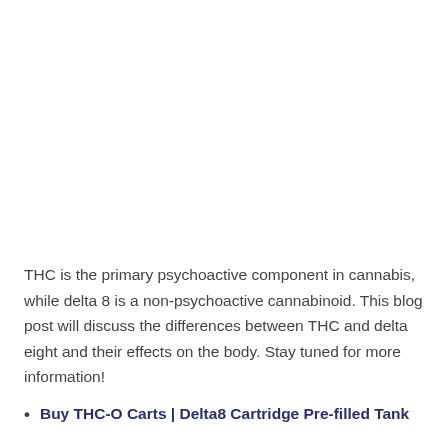THC is the primary psychoactive component in cannabis, while delta 8 is a non-psychoactive cannabinoid. This blog post will discuss the differences between THC and delta eight and their effects on the body. Stay tuned for more information!
Buy THC-O Carts | Delta8 Cartridge Pre-filled Tank